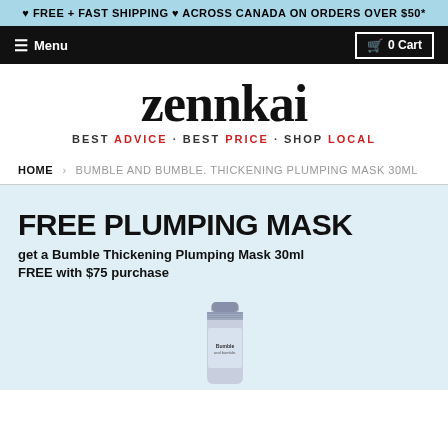♥ FREE + FAST SHIPPING ♥ ACROSS CANADA ON ORDERS OVER $50*
☰ Menu | 🛒 0 Cart
[Figure (logo): Zennkai logo with serif wordmark and tagline: BEST ADVICE · BEST PRICE · SHOP LOCAL]
HOME › BUMBLE AND BUMBLE. THICKENING PLUMPING MASK 30ML
FREE PLUMPING MASK
get a Bumble Thickening Plumping Mask 30ml FREE with $75 purchase
[Figure (photo): Bumble and bumble Thickening Plumping Mask 30ml tube product photo]